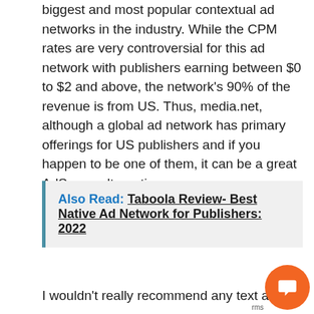biggest and most popular contextual ad networks in the industry. While the CPM rates are very controversial for this ad network with publishers earning between $0 to $2 and above, the network's 90% of the revenue is from US. Thus, media.net, although a global ad network has primary offerings for US publishers and if you happen to be one of them, it can be a great AdSense alternative.
Also Read: Taboola Review- Best Native Ad Network for Publishers: 2022
I wouldn't really recommend any text ad